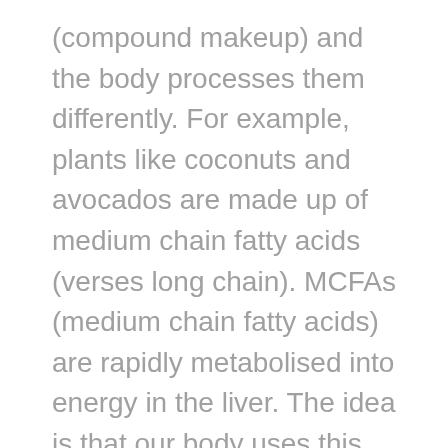(compound makeup) and the body processes them differently. For example, plants like coconuts and avocados are made up of medium chain fatty acids (verses long chain). MCFAs (medium chain fatty acids) are rapidly metabolised into energy in the liver. The idea is that our body uses this type of fat more quickly and its less likely to be stored as fat. People who have maintained a diet incorporating MCFAs appear to have more energy